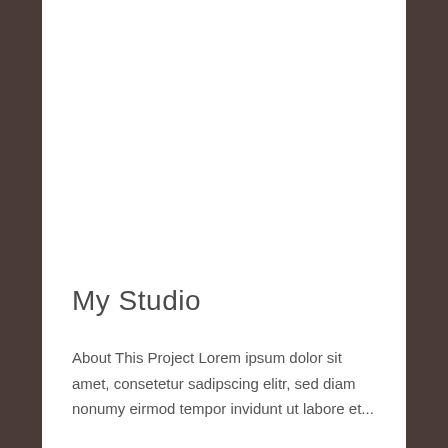My Studio
About This Project Lorem ipsum dolor sit amet, consetetur sadipscing elitr, sed diam nonumy eirmod tempor invidunt ut labore et...